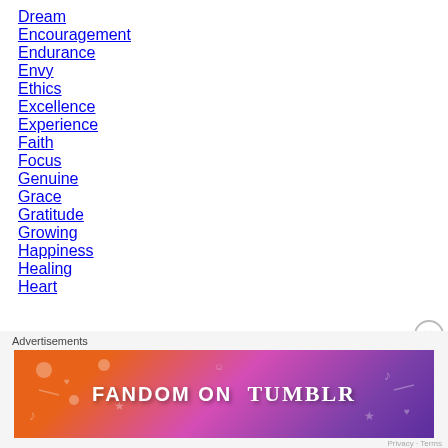Dream
Encouragement
Endurance
Envy
Ethics
Excellence
Experience
Faith
Focus
Genuine
Grace
Gratitude
Growing
Happiness
Healing
Heart
[Figure (infographic): Fandom on Tumblr advertisement banner with colorful gradient background (orange to purple) and doodle illustrations]
Advertisements
Privacy · Terms